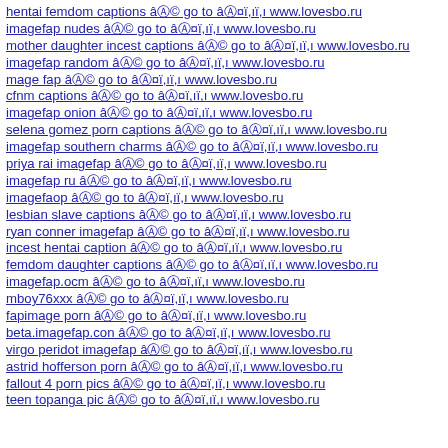hentai femdom captions â©  go to â¤ï,ï, www.lovesbo.ru
imagefap nudes â©  go to â¤ï,ï, www.lovesbo.ru
mother daughter incest captions â©  go to â¤ï,ï, www.lovesbo.ru
imagefap random â©  go to â¤ï,ï, www.lovesbo.ru
mage fap â©  go to â¤ï,ï, www.lovesbo.ru
cfnm captions â©  go to â¤ï,ï, www.lovesbo.ru
imagefap onion â©  go to â¤ï,ï, www.lovesbo.ru
selena gomez porn captions â©  go to â¤ï,ï, www.lovesbo.ru
imagefap southern charms â©  go to â¤ï,ï, www.lovesbo.ru
priya rai imagefap â©  go to â¤ï,ï, www.lovesbo.ru
imagefap ru â©  go to â¤ï,ï, www.lovesbo.ru
imagefaop â©  go to â¤ï,ï, www.lovesbo.ru
lesbian slave captions â©  go to â¤ï,ï, www.lovesbo.ru
ryan conner imagefap â©  go to â¤ï,ï, www.lovesbo.ru
incest hentai caption â©  go to â¤ï,ï, www.lovesbo.ru
femdom daughter captions â©  go to â¤ï,ï, www.lovesbo.ru
imagefap.ocm â©  go to â¤ï,ï, www.lovesbo.ru
mboy76xxx â©  go to â¤ï,ï, www.lovesbo.ru
fapimage porn â©  go to â¤ï,ï, www.lovesbo.ru
beta.imagefap.con â©  go to â¤ï,ï, www.lovesbo.ru
virgo peridot imagefap â©  go to â¤ï,ï, www.lovesbo.ru
astrid hofferson porn â©  go to â¤ï,ï, www.lovesbo.ru
fallout 4 porn pics â©  go to â¤ï,ï, www.lovesbo.ru
teen topanga pic â©  go to â¤ï,ï, www.lovesbo.ru